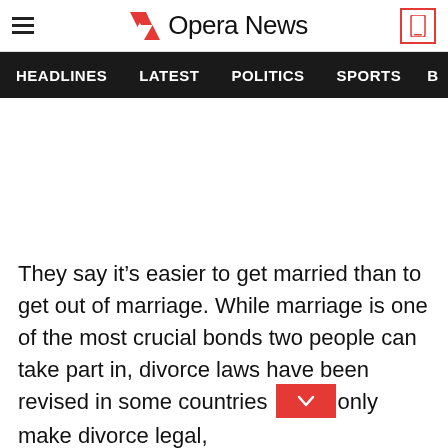Opera News
HEADLINES  LATEST  POLITICS  SPORTS
They say it’s easier to get married than to get out of marriage. While marriage is one of the most crucial bonds two people can take part in, divorce laws have been revised in some countries only make divorce legal,